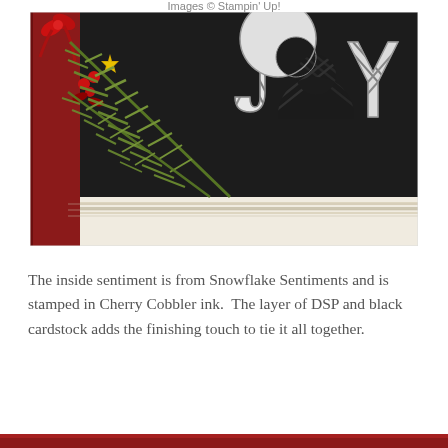[Figure (photo): Close-up photo of a handmade Christmas card on a black background. Features olive green pine/cedar branches, red holly, a gold metallic accent, a red ribbon bow, and silver JOY letters with black and white buffalo check/plaid pattern. The card has a dark red left edge and a cream/white DSP strip along the bottom.]
The inside sentiment is from Snowflake Sentiments and is stamped in Cherry Cobbler ink.  The layer of DSP and black cardstock adds the finishing touch to tie it all together.
[Figure (photo): Partially visible bottom portion of another handmade card, showing a dark red/crimson edge at the bottom of the page.]